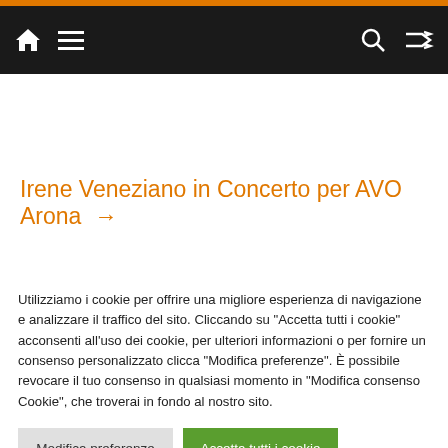Navigation bar with home icon, menu icon, search icon, shuffle icon
Irene Veneziano in Concerto per AVO Arona →
Utilizziamo i cookie per offrire una migliore esperienza di navigazione e analizzare il traffico del sito. Cliccando su "Accetta tutti i cookie" acconsenti all'uso dei cookie, per ulteriori informazioni o per fornire un consenso personalizzato clicca "Modifica preferenze". È possibile revocare il tuo consenso in qualsiasi momento in "Modifica consenso Cookie", che troverai in fondo al nostro sito.
Modifica preferenze | Accetta tutti i cookie